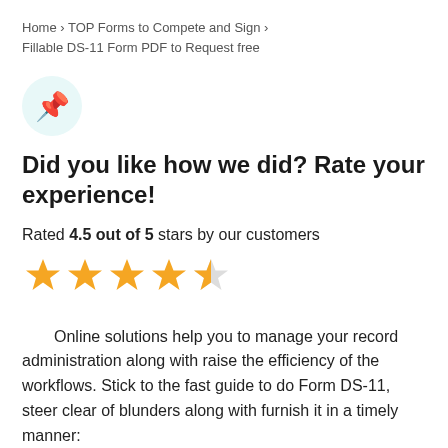Home › TOP Forms to Compete and Sign › Fillable DS-11 Form PDF to Request free
[Figure (illustration): Thumbs up / push-pin emoji icon inside a light teal circle]
Did you like how we did? Rate your experience!
Rated 4.5 out of 5 stars by our customers
[Figure (infographic): 4.5 out of 5 gold stars rating — four full stars and one half star]
Online solutions help you to manage your record administration along with raise the efficiency of the workflows. Stick to the fast guide to do Form DS-11, steer clear of blunders along with furnish it in a timely manner: